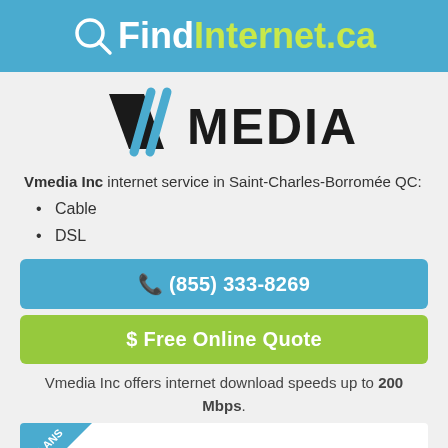QFindInternet.ca
[Figure (logo): Vmedia Inc logo with stylized V and slash marks]
Vmedia Inc internet service in Saint-Charles-Borromée QC:
Cable
DSL
(855) 333-8269
$ Free Online Quote
Vmedia Inc offers internet download speeds up to 200 Mbps.
[Figure (other): Partial ribbon/banner corner with PLANS text visible]